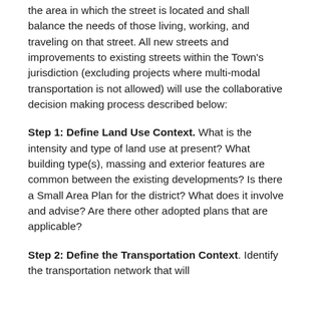the area in which the street is located and shall balance the needs of those living, working, and traveling on that street. All new streets and improvements to existing streets within the Town's jurisdiction (excluding projects where multi-modal transportation is not allowed) will use the collaborative decision making process described below:
Step 1: Define Land Use Context. What is the intensity and type of land use at present? What building type(s), massing and exterior features are common between the existing developments? Is there a Small Area Plan for the district? What does it involve and advise? Are there other adopted plans that are applicable?
Step 2: Define the Transportation Context. Identify the transportation network that will